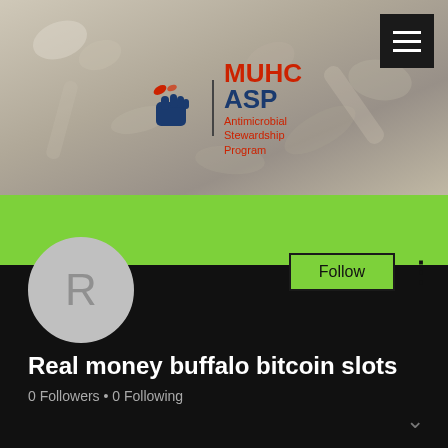[Figure (screenshot): MUHC ASP (Antimicrobial Stewardship Program) website header banner with blurred medical pills/capsules background image]
[Figure (logo): MUHC ASP logo: pill/hand icon on left, vertical divider, MUHC ASP in navy blue bold, Antimicrobial Stewardship Program in red on right]
[Figure (screenshot): Green profile band with Follow button and three-dots menu, avatar circle with letter R, profile name Real money buffalo bitcoin slots, 0 Followers 0 Following on black background]